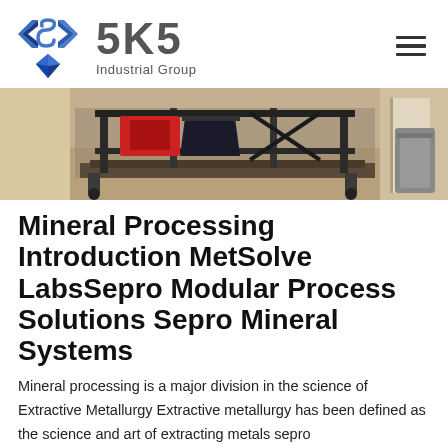[Figure (logo): SKS Industrial Group logo with angular bracket symbol in blue and grey text]
[Figure (photo): Industrial mineral processing equipment on a workshop floor, showing black metal frame machinery with red components]
Mineral Processing Introduction MetSolve LabsSepro Modular Process Solutions Sepro Mineral Systems
Mineral processing is a major division in the science of Extractive Metallurgy Extractive metallurgy has been defined as the science and art of extracting metals sepro